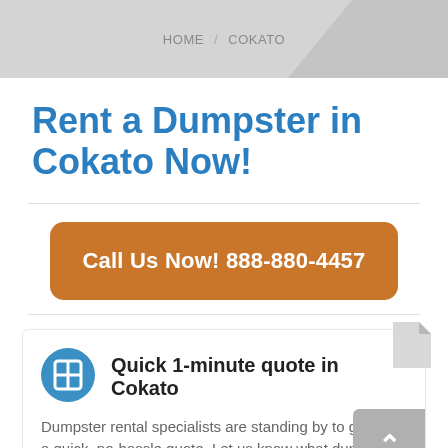HOME / COKATO
Rent a Dumpster in Cokato Now!
Call Us Now! 888-880-4457
Quick 1-minute quote in Cokato
Dumpster rental specialists are standing by to give you a quick, no-hassle quote. Let us know what dumpster size